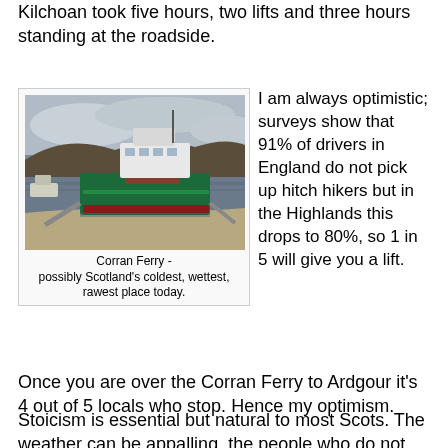Kilchoan took five hours, two lifts and three hours standing at the roadside.
[Figure (photo): A ferry boat at a shoreline ramp with hills and water in the background, overcast sky.]
Corran Ferry - possibly Scotland's coldest, wettest, rawest place today.
I am always optimistic; surveys show that 91% of drivers in England do not pick up hitch hikers but in the Highlands this drops to 80%, so 1 in 5 will give you a lift. Once you are over the Corran Ferry to Ardgour it's 4 out of 5 locals who stop. Hence my optimism.
Stoicism is essential but natural to most Scots. The weather can be appalling, the people who do not stop may look smug